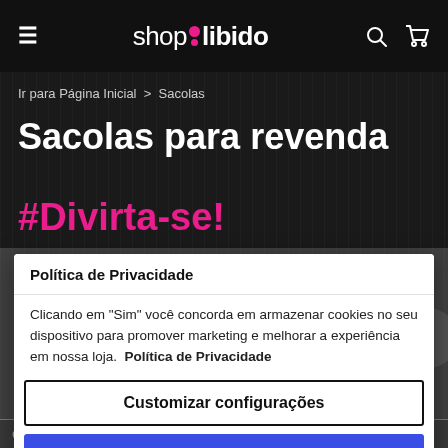shop libido — navigation bar with hamburger menu, logo, search and cart icons
Ir para Página Inicial > Sacolas
Sacolas para revenda
#Divirta-se!
Política de Privacidade
Sacolas
Clicando em "Sim" você concorda em armazenar cookies no seu dispositivo para promover marketing e melhorar a experiência em nossa loja.  Política de Privacidade
Customizar configurações
Permitir todos